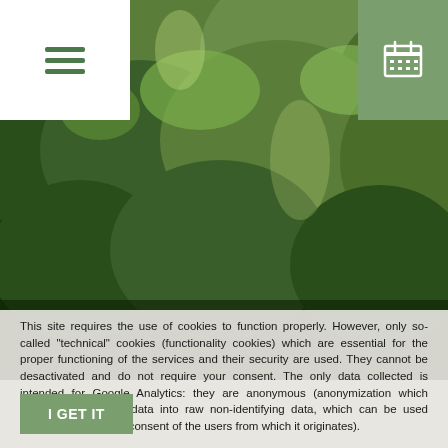[Figure (photo): Forest canopy photograph showing dense green trees viewed from below/side, lush foliage filling the frame]
This site requires the use of cookies to function properly. However, only so-called "technical" cookies (functionality cookies) which are essential for the proper functioning of the services and their security are used. They cannot be desactivated and do not require your consent. The only data collected is intended for Google Analytics: they are anonymous (anonymization which transforms personal data into raw non-identifying data, which can be used without obtaining the consent of the users from which it originates).
I GET IT